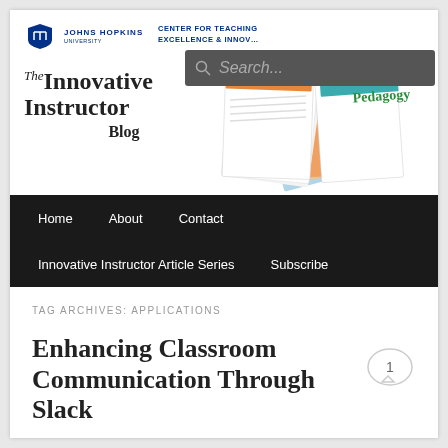[Figure (logo): Johns Hopkins University crest shield logo with JHU name and Center for Teaching Excellence & Innovation text, alongside newsletter/article spread image and search box]
The Innovative Instructor Blog
Home   About   Contact   Innovative Instructor Article Series   Subscribe
TAG ARCHIVES: APPLICATIONS
Enhancing Classroom Communication Through Slack
Posted on December 9, 2019 by abrusini